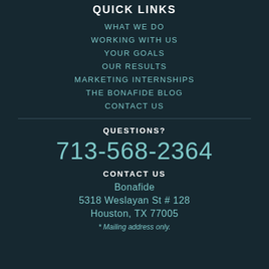QUICK LINKS
WHAT WE DO
WORKING WITH US
YOUR GOALS
OUR RESULTS
MARKETING INTERNSHIPS
THE BONAFIDE BLOG
CONTACT US
QUESTIONS?
713-568-2364
CONTACT US
Bonafide
5318 Weslayan St # 128
Houston, TX 77005
* Mailing address only.